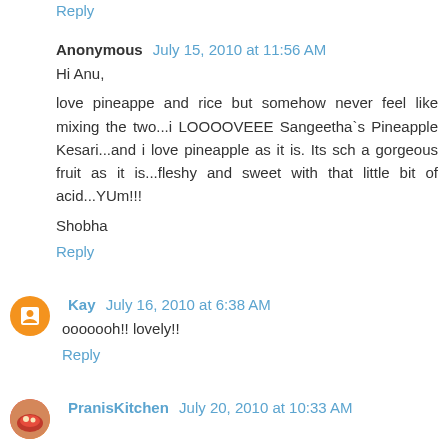Reply
Anonymous July 15, 2010 at 11:56 AM
Hi Anu,
love pineappe and rice but somehow never feel like mixing the two...i LOOOOVEEE Sangeetha`s Pineapple Kesari...and i love pineapple as it is. Its sch a gorgeous fruit as it is...fleshy and sweet with that little bit of acid...YUm!!!
Shobha
Reply
Kay July 16, 2010 at 6:38 AM
ooooooh!! lovely!!
Reply
PranisKitchen July 20, 2010 at 10:33 AM